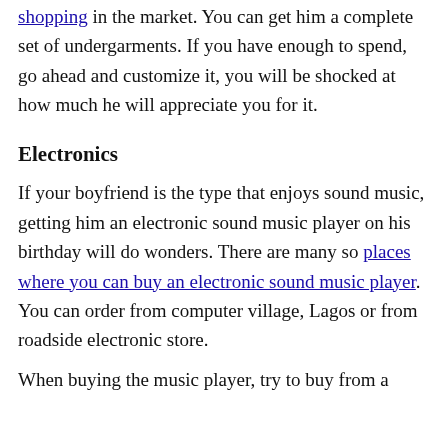shopping in the market. You can get him a complete set of undergarments. If you have enough to spend, go ahead and customize it, you will be shocked at how much he will appreciate you for it.
Electronics
If your boyfriend is the type that enjoys sound music, getting him an electronic sound music player on his birthday will do wonders. There are many so places where you can buy an electronic sound music player. You can order from computer village, Lagos or from roadside electronic store.
When buying the music player, try to buy from a